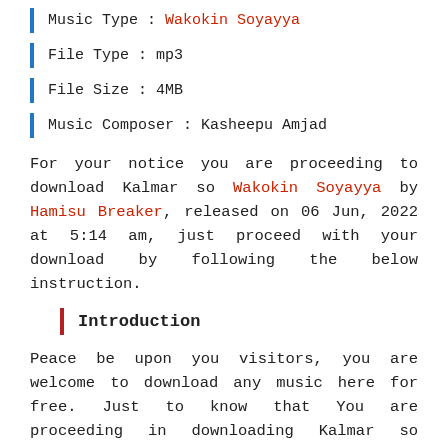Music Type : Wakokin Soyayya
File Type : mp3
File Size : 4MB
Music Composer : Kasheepu Amjad
For your notice you are proceeding to download Kalmar so Wakokin Soyayya by Hamisu Breaker, released on 06 Jun, 2022 at 5:14 am, just proceed with your download by following the below instruction.
Introduction
Peace be upon you visitors, you are welcome to download any music here for free. Just to know that You are proceeding in downloading Kalmar so lyrics, by the gorgeous and intelligent artist Hamisu Breaker for free in DLhausaNovels.com.ng, please be informed that all our